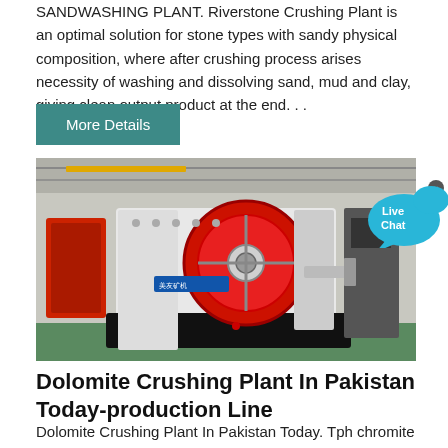SANDWASHING PLANT. Riverstone Crushing Plant is an optimal solution for stone types with sandy physical composition, where after crushing process arises necessity of washing and dissolving sand, mud and clay, giving clean output product at the end. . .
More Details
[Figure (photo): A jaw crusher / impact crushing machine photographed in a factory/warehouse setting. The machine is white and black with a prominent red circular flywheel. Chinese branding visible on the machine.]
[Figure (infographic): Live Chat button in teal/cyan speech bubble shape with an x close button]
Dolomite Crushing Plant In Pakistan Today-production Line
Dolomite Crushing Plant In Pakistan Today. Tph chromite ore crushing plant in pakistantph chromite ore crushing plant in pakistan. 170 tph chromite ore crushing plant in china170 tph chromite ore crushing plant in china...